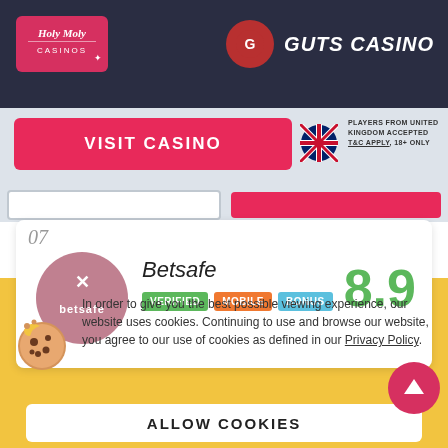[Figure (logo): Holy Moly Casinos logo - red rounded rectangle with white text]
[Figure (logo): Guts Casino logo - red circle with guts icon and italic bold white text GUTS CASINO]
[Figure (infographic): VISIT CASINO button in red/pink with UK flag and players text]
PLAYERS FROM UNITED KINGDOM ACCEPTED T&C APPLY, 18+ ONLY
07
[Figure (logo): Betsafe logo - pink/mauve circle with white x and betsafe text]
Betsafe
VERIFIED MOBILE BONUS
8.9
In order to give you the best possible viewing experience, our website uses cookies. Continuing to use and browse our website, you agree to our use of cookies as defined in our Privacy Policy.
ALLOW COOKIES